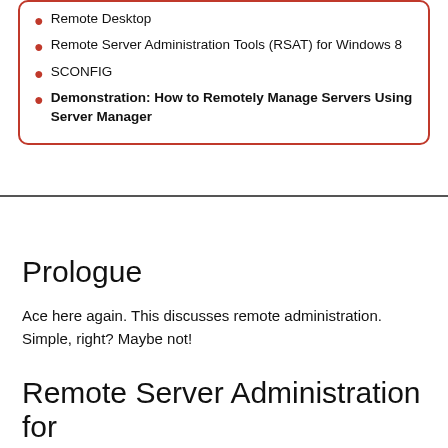Remote Desktop
Remote Server Administration Tools (RSAT) for Windows 8
SCONFIG
Demonstration: How to Remotely Manage Servers Using Server Manager
Prologue
Ace here again. This discusses remote administration. Simple, right? Maybe not!
Remote Server Administration for